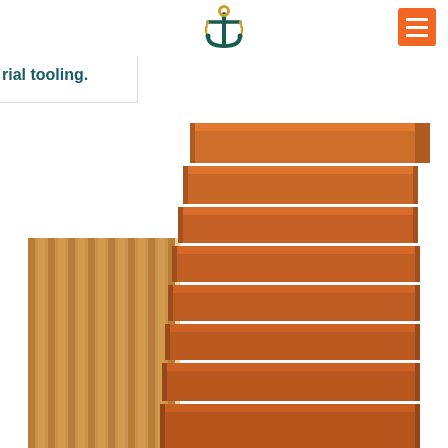[Figure (logo): Anchor logo icon in dark teal/green with gold rope detail, centered at top of page]
[Figure (other): Orange hamburger menu button (three white horizontal lines) on orange square background, top right corner]
trial tooling.
[Figure (photo): Photo of stacked terracotta/orange colored bricks or clay blocks piled high, alongside a ribbed/grooved lighter wood plank or panel on the left, against white background]